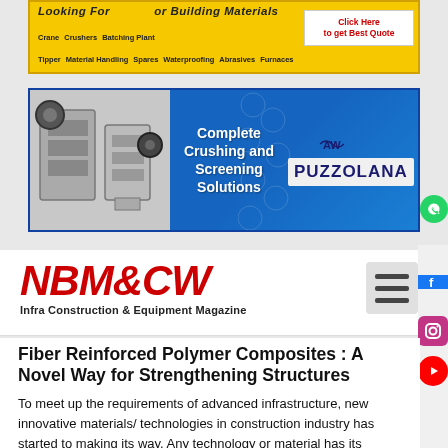[Figure (screenshot): Yellow banner advertisement for building materials showing keywords like Crane, Crushers, Batching Plant, Tipper, Material Handling, Spares, Waterproofing, Abrasives, Furnaces, Precast with a 'Click Here to get Best Quote' button]
[Figure (screenshot): Blue banner advertisement for Puzzolana - Complete Crushing and Screening Solutions with crusher machine images]
[Figure (logo): NBM&CW logo - Infra Construction & Equipment Magazine with red bold italic text and hamburger menu icon]
Fiber Reinforced Polymer Composites : A Novel Way for Strengthening Structures
To meet up the requirements of advanced infrastructure, new innovative materials/ technologies in construction industry has started to making its way. Any technology or material has its limitations. To meet the new requirements, new technologies have to be invented and